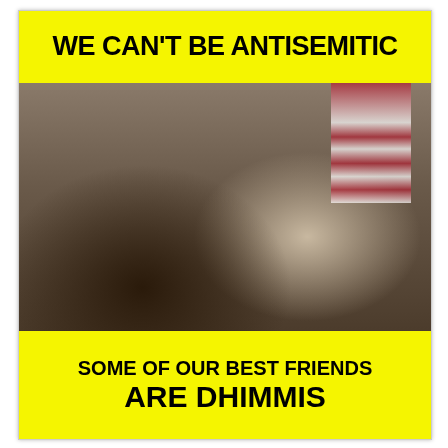WE CAN'T BE ANTISEMITIC
[Figure (photo): Selfie photo of two smiling women indoors, one wearing glasses and one wearing a patterned hijab, with an American flag and a name placard visible in the background.]
SOME OF OUR BEST FRIENDS ARE DHIMMIS